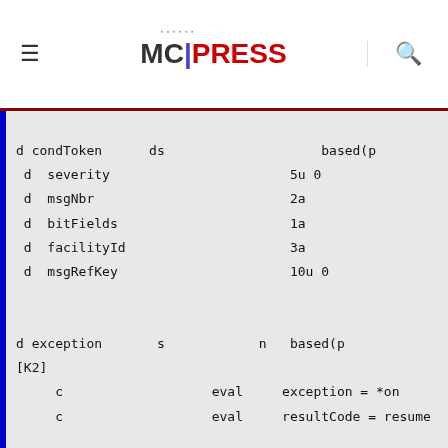MC PRESS
d condToken      ds                              based(p
 d  severity                          5u 0
 d  msgNbr                            2a
 d  bitFields                         1a
 d  facilityId                        3a
 d  msgRefKey                         10u 0


d exception       s              n   based(p
[K2]
     c                   eval       exception = *on
     c                   eval       resultCode = resume

     c                   return
     *----------------------------------------------------